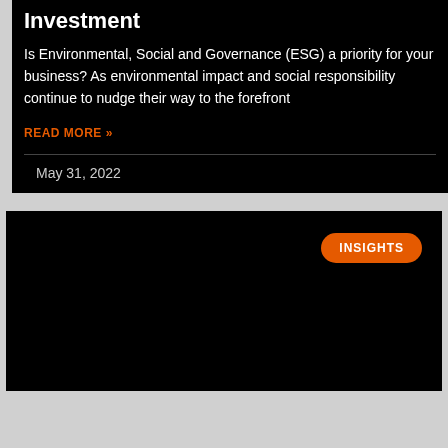Investment
Is Environmental, Social and Governance (ESG) a priority for your business? As environmental impact and social responsibility continue to nudge their way to the forefront
READ MORE »
May 31, 2022
[Figure (other): Dark card with orange INSIGHTS badge in top-right corner]